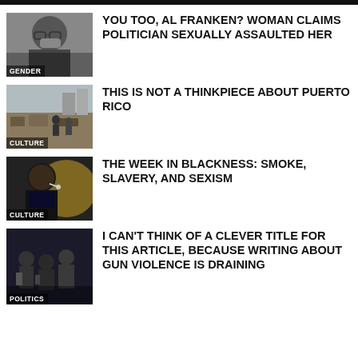[Figure (photo): Man with glasses resting hand on face, with GENDER label overlay]
YOU TOO, AL FRANKEN? WOMAN CLAIMS POLITICIAN SEXUALLY ASSAULTED HER
[Figure (photo): Disaster scene with debris and people, with CULTURE label overlay]
THIS IS NOT A THINKPIECE ABOUT PUERTO RICO
[Figure (photo): Black man speaking with microphone headset, with CULTURE label overlay]
THE WEEK IN BLACKNESS: SMOKE, SLAVERY, AND SEXISM
[Figure (photo): People in a dark scene, with POLITICS label overlay]
I CAN'T THINK OF A CLEVER TITLE FOR THIS ARTICLE, BECAUSE WRITING ABOUT GUN VIOLENCE IS DRAINING